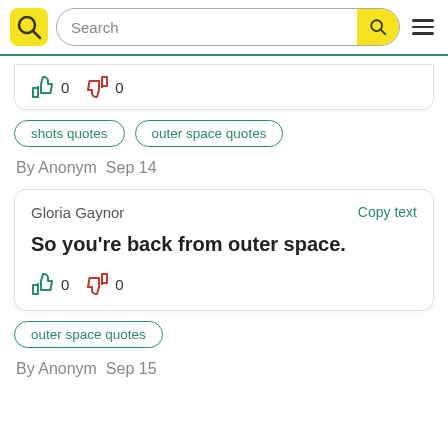Search
0  0
shots quotes
outer space quotes
By Anonym  Sep 14
Gloria Gaynor
Copy text
So you're back from outer space.
0  0
outer space quotes
By Anonym  Sep 15